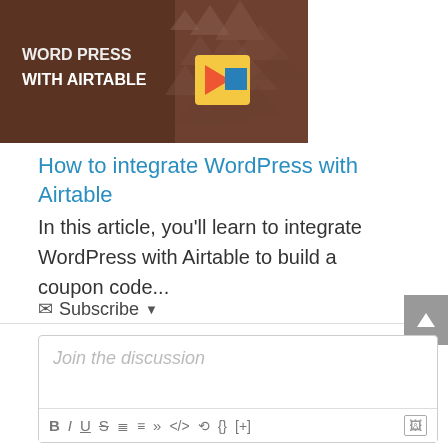[Figure (photo): Article thumbnail image showing a brown background with the text 'WITH AIRTABLE' and decorative elements including colored shapes]
How to integrate WordPress with Airtable
In this article, you'll learn to integrate WordPress with Airtable to build a coupon code...
Subscribe ▾
[Figure (screenshot): Comment text editor box with placeholder text 'Join the discussion' and formatting toolbar with B, I, U, S, list, quote, code, link, block, and image buttons]